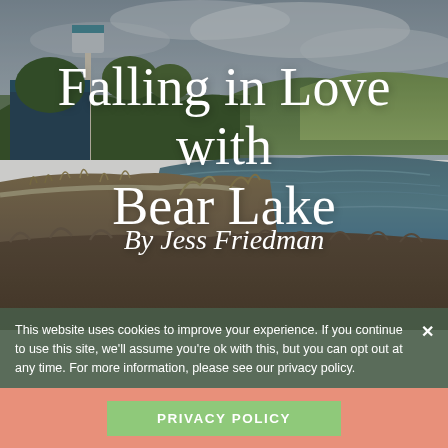[Figure (photo): Outdoor landscape photo of Bear Lake shoreline with calm blue-green water, rocky/sandy bank, dry brush vegetation, trees, a structure (water tower or antenna) on left, rolling hills and cloudy sky in background.]
Falling in Love with Bear Lake
By Jess Friedman
This website uses cookies to improve your experience. If you continue to use this site, we'll assume you're ok with this, but you can opt out at any time. For more information, please see our privacy policy.
PRIVACY POLICY